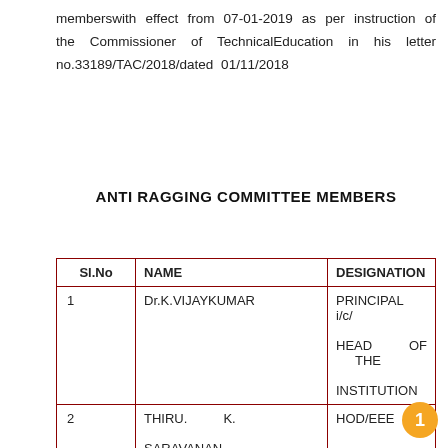memberswith effect from 07-01-2019 as per instruction of the Commissioner of TechnicalEducation in his letter no.33189/TAC/2018/dated 01/11/2018
ANTI RAGGING COMMITTEE MEMBERS
| Sl.No | NAME | DESIGNATION |
| --- | --- | --- |
| 1 | Dr.K.VIJAYKUMAR | PRINCIPAL i/c/ HEAD OF THE INSTITUTION |
| 2 | THIRU. K. SARAVANAN | HOD/EEE |